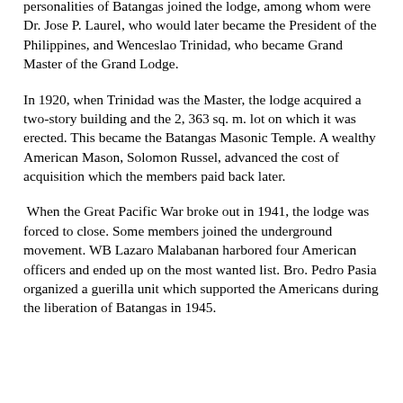personalities of Batangas joined the lodge, among whom were Dr. Jose P. Laurel, who would later became the President of the Philippines, and Wenceslao Trinidad, who became Grand Master of the Grand Lodge.
In 1920, when Trinidad was the Master, the lodge acquired a two-story building and the 2, 363 sq. m. lot on which it was erected. This became the Batangas Masonic Temple. A wealthy American Mason, Solomon Russel, advanced the cost of acquisition which the members paid back later.
When the Great Pacific War broke out in 1941, the lodge was forced to close. Some members joined the underground movement. WB Lazaro Malabanan harbored four American officers and ended up on the most wanted list. Bro. Pedro Pasia organized a guerilla unit which supported the Americans during the liberation of Batangas in 1945.